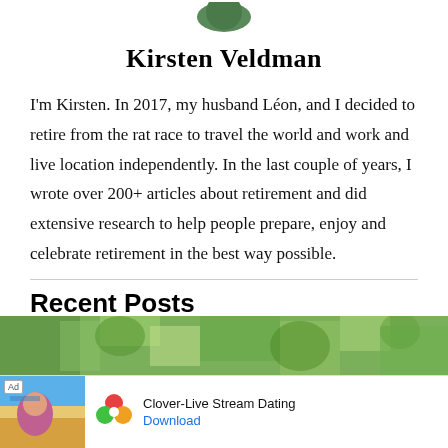[Figure (photo): Circular profile photo of Kirsten Veldman, partially visible at top of page]
Kirsten Veldman
I'm Kirsten. In 2017, my husband Léon, and I decided to retire from the rat race to travel the world and work and live location independently. In the last couple of years, I wrote over 200+ articles about retirement and did extensive research to help people prepare, enjoy and celebrate retirement in the best way possible.
Recent Posts
[Figure (photo): Partial view of a tropical/outdoor scene image strip at the bottom of the page]
[Figure (other): Advertisement banner: Clover-Live Stream Dating app ad with thumbnail of woman at beach, Clover logo (four-leaf clover with colorful petals), app name and Download link]